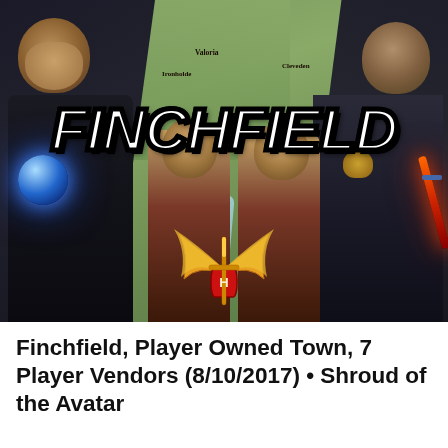[Figure (illustration): Promotional banner image for 'Finchfield' - a player owned town in the game Shroud of the Avatar. Shows the word FINCHFIELD in large white bold text with black outline over a fantasy map background. Left side shows a bald dark-robed mage with a blue glowing orb. Right side shows an armored figure with a red flaming sword. Center shows two merchant-type characters. Bottom center features a winged crest/logo with a sword and red shield emblem.]
Finchfield, Player Owned Town, 7 Player Vendors (8/10/2017) • Shroud of the Avatar